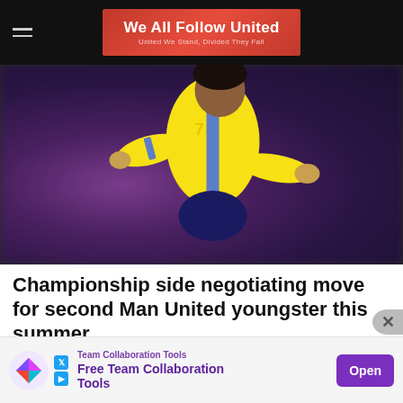We All Follow United — United We Stand, Divided They Fall
[Figure (photo): Football player in yellow and blue jersey with arms outstretched, blurred crowd background]
Championship side negotiating move for second Man United youngster this summer
Birmingham City negotiating move for Tahith Chong after land Hannibal Mejbri from Manchester United Manchester...
[Figure (infographic): Advertisement banner: Team Collaboration Tools — Free Team Collaboration Tools, Open button]